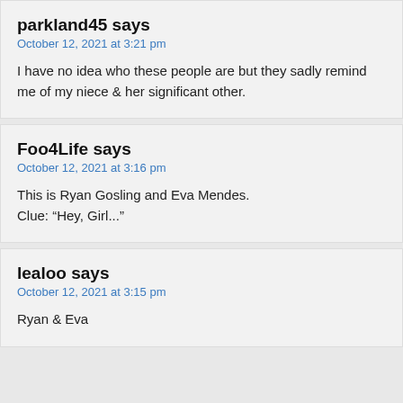parkland45 says
October 12, 2021 at 3:21 pm
I have no idea who these people are but they sadly remind me of my niece & her significant other.
Foo4Life says
October 12, 2021 at 3:16 pm
This is Ryan Gosling and Eva Mendes.
Clue: “Hey, Girl...”
lealoo says
October 12, 2021 at 3:15 pm
Ryan & Eva